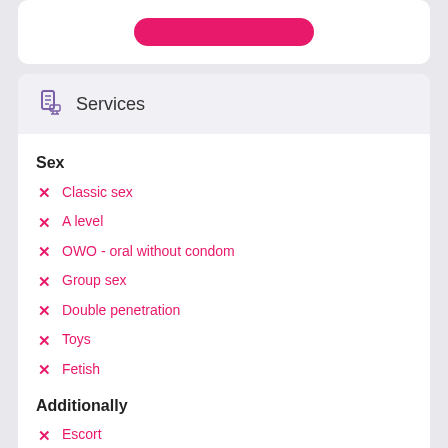[Figure (other): Pink button at top of card]
Services
Sex
Classic sex
A level
OWO - oral without condom
Group sex
Double penetration
Toys
Fetish
Additionally
Escort
Photography
There is a young man for a couple